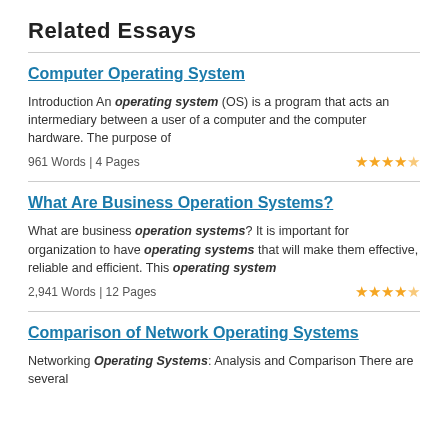Related Essays
Computer Operating System
Introduction An operating system (OS) is a program that acts an intermediary between a user of a computer and the computer hardware. The purpose of
961 Words | 4 Pages
What Are Business Operation Systems?
What are business operation systems? It is important for organization to have operating systems that will make them effective, reliable and efficient. This operating system
2,941 Words | 12 Pages
Comparison of Network Operating Systems
Networking Operating Systems: Analysis and Comparison There are several